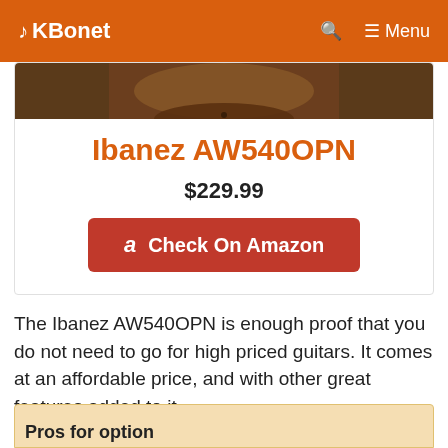KBonet — Search — Menu
[Figure (photo): Partial photo of a guitar body (brown/wood color) at top of product card]
Ibanez AW540OPN
$229.99
Check On Amazon
The Ibanez AW540OPN is enough proof that you do not need to go for high priced guitars. It comes at an affordable price, and with other great features added to it.
Pros for option